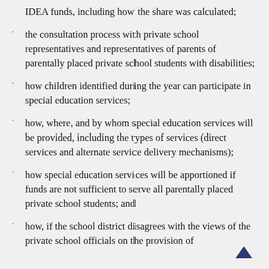IDEA funds, including how the share was calculated;
the consultation process with private school representatives and representatives of parents of parentally placed private school students with disabilities;
how children identified during the year can participate in special education services;
how, where, and by whom special education services will be provided, including the types of services (direct services and alternate service delivery mechanisms);
how special education services will be apportioned if funds are not sufficient to serve all parentally placed private school students; and
how, if the school district disagrees with the views of the private school officials on the provision of